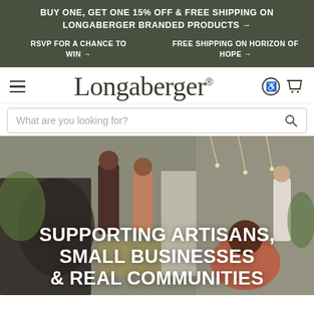BUY ONE, GET ONE 15% OFF & FREE SHIPPING ON LONGABERGER BRANDED PRODUCTS →
RSVP FOR A CHANCE TO WIN →
FREE SHIPPING ON HORIZON OF HOPE →
[Figure (logo): Longaberger brand logo with serif font and registered trademark symbol]
What are you looking for?
[Figure (photo): People working together at a community artisan event, indoor setting with plants and decorations]
SUPPORTING ARTISANS, SMALL BUSINESSES & REAL COMMUNITIES